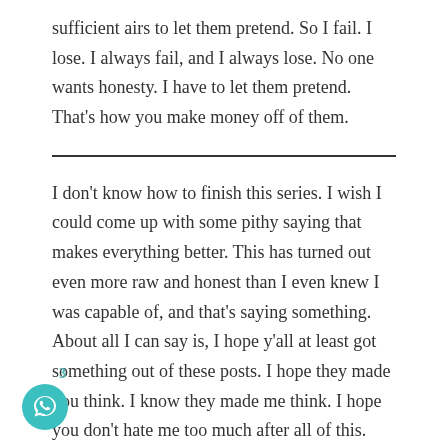sufficient airs to let them pretend. So I fail. I lose. I always fail, and I always lose. No one wants honesty. I have to let them pretend. That's how you make money off of them.
I don't know how to finish this series. I wish I could come up with some pithy saying that makes everything better. This has turned out even more raw and honest than I even knew I was capable of, and that's saying something. About all I can say is, I hope y'all at least got something out of these posts. I hope they made you think. I know they made me think. I hope you don't hate me too much after all of this. After this series, it's back to J-pop and pretending and kawaii and all sorts of silly and useless things that y'all might like and might earn